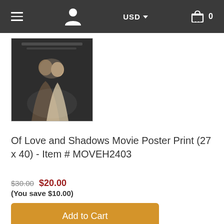USD 0
[Figure (photo): Movie poster thumbnail showing a romantic scene between two people]
Of Love and Shadows Movie Poster Print (27 x 40) - Item # MOVEH2403
$30.00 $20.00
(You save $10.00)
Add to Cart
Add a Frame or Canvas!
Add to Wish list